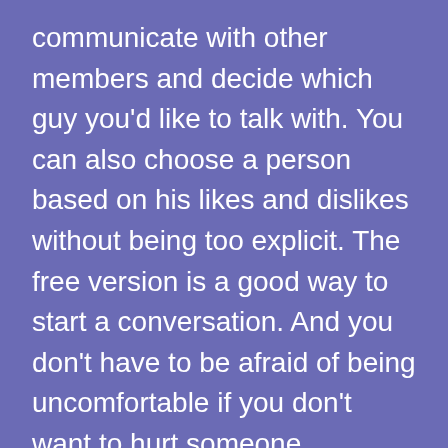communicate with other members and decide which guy you'd like to talk with. You can also choose a person based on his likes and dislikes without being too explicit. The free version is a good way to start a conversation. And you don't have to be afraid of being uncomfortable if you don't want to hurt someone.
The most effective way to find gay men is to be aware of the gay community in your area. This will help you make friends in your area, and you'll feel more comfortable around gay men. This will be easier if you're out with other guys